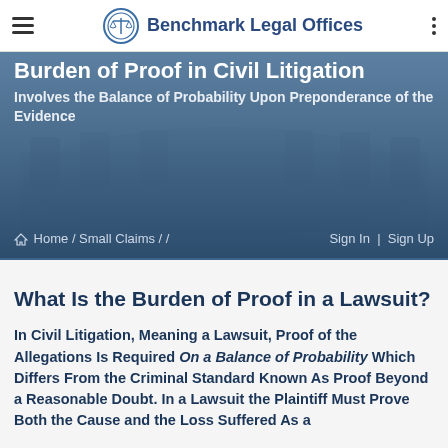Benchmark Legal Offices
[Figure (screenshot): Hero banner with blurred conference room background, dark blue overlay, showing title 'Burden of Proof in Civil Litigation', subtitle 'Involves the Balance of Probability Upon Preponderance of the Evidence', breadcrumb navigation 'Home / Small Claims //', and auth links 'Sign In | Sign Up']
What Is the Burden of Proof in a Lawsuit?
In Civil Litigation, Meaning a Lawsuit, Proof of the Allegations Is Required On a Balance of Probability Which Differs From the Criminal Standard Known As Proof Beyond a Reasonable Doubt. In a Lawsuit the Plaintiff Must Prove Both the Cause and the Loss Suffered As a